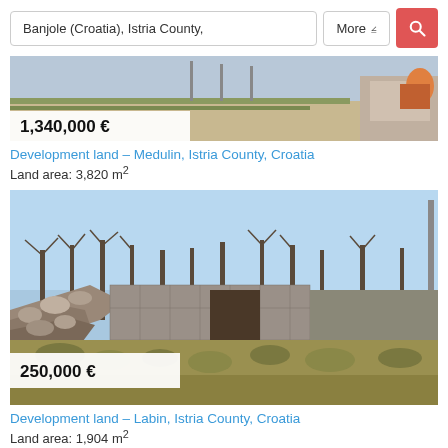[Figure (screenshot): Search bar with location text 'Banjole (Croatia), Istria County,' and a 'More' dropdown button and red search icon button]
[Figure (photo): Partial top of a real estate listing photo showing outdoor landscape with blue sky, showing price badge '1,340,000 €']
Development land – Medulin, Istria County, Croatia
Land area: 3,820 m²
[Figure (photo): Photo of development land in Labin showing rocky ruins, stone walls, bare trees and scrubland under blue sky. Price badge reads '250,000 €']
Development land – Labin, Istria County, Croatia
Land area: 1,904 m²